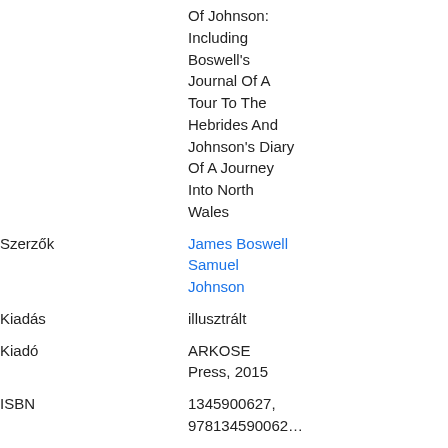| Field | Value |
| --- | --- |
|  | Of Johnson: Including Boswell's Journal Of A Tour To The Hebrides And Johnson's Diary Of A Journey Into North Wales |
| Szerzők | James Boswell
Samuel Johnson |
| Kiadás | illusztrált |
| Kiadó | ARKOSE Press, 2015 |
| ISBN | 1345900627, 978134590062... |
| Terjedelem | 586 oldal |
| Idézet exportálása | BiBTeX
EndNote |